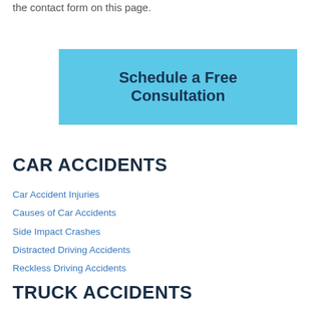the contact form on this page.
[Figure (other): Blue call-to-action button labeled 'Schedule a Free Consultation']
CAR ACCIDENTS
Car Accident Injuries
Causes of Car Accidents
Side Impact Crashes
Distracted Driving Accidents
Reckless Driving Accidents
TRUCK ACCIDENTS